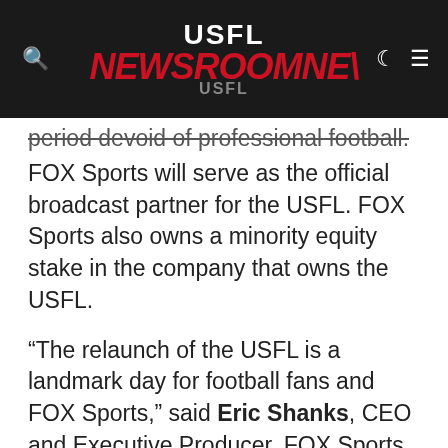USFL NEWSROOMNEWS USFL
period devoid of professional football.
FOX Sports will serve as the official broadcast partner for the USFL. FOX Sports also owns a minority equity stake in the company that owns the USFL.
“The relaunch of the USFL is a landmark day for football fans and FOX Sports,” said Eric Shanks, CEO and Executive Producer, FOX Sports. “Football is in our DNA and the return of this innovative and iconic league is a fantastic addition to our robust slate of football programming.”